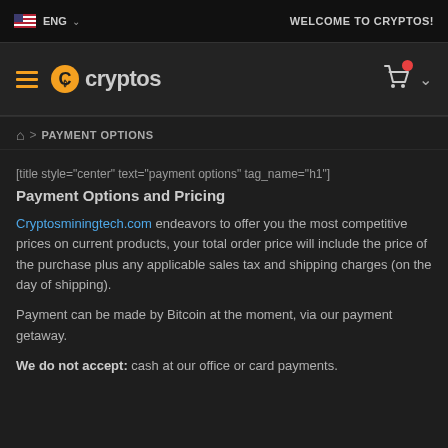ENG  WELCOME TO CRYPTOS!
[Figure (logo): Cryptos website logo with hamburger menu, orange C logo mark, 'cryptos' text, shopping cart icon with red badge, and chevron]
> PAYMENT OPTIONS
[title style="center" text="payment options" tag_name="h1"]
Payment Options and Pricing
Cryptosminingtech.com endeavors to offer you the most competitive prices on current products, your total order price will include the price of the purchase plus any applicable sales tax and shipping charges (on the day of shipping).
Payment can be made by Bitcoin at the moment, via our payment getaway.
We do not accept: cash at our office or card payments.